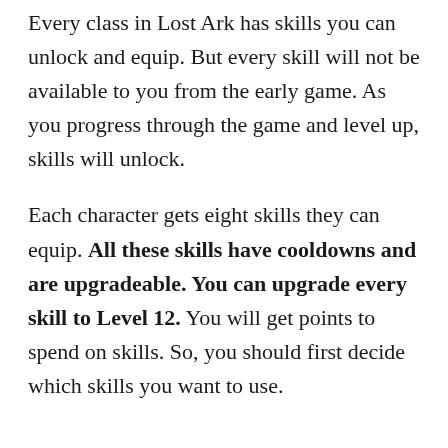Every class in Lost Ark has skills you can unlock and equip. But every skill will not be available to you from the early game. As you progress through the game and level up, skills will unlock.
Each character gets eight skills they can equip. All these skills have cooldowns and are upgradeable. You can upgrade every skill to Level 12. You will get points to spend on skills. So, you should first decide which skills you want to use.